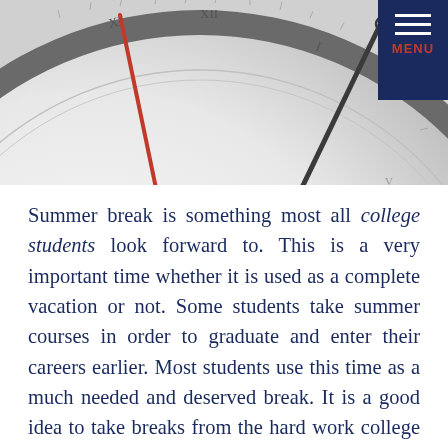[Figure (photo): Close-up of a white clock face with red and grey hands, showing roman numerals. A dark blue navigation menu button with three white horizontal lines and 'MENU' text in red is overlaid in the top-right corner.]
Summer break is something most all college students look forward to. This is a very important time whether it is used as a complete vacation or not. Some students take summer courses in order to graduate and enter their careers earlier. Most students use this time as a much needed and deserved break. It is a good idea to take breaks from the hard work college paths require. This can effectively prevent burn out in the long run. This does not